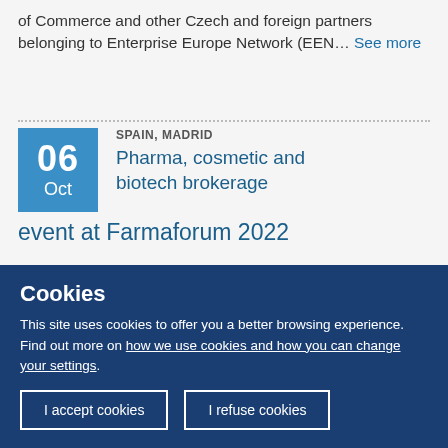of Commerce and other Czech and foreign partners belonging to Enterprise Europe Network (EEN… See more
SPAIN, MADRID
Pharma, cosmetic and biotech brokerage event at Farmaforum 2022
Within the framework of Farmaforum 2022, Fundación para el Conocimiento madri+d will organize an international brokerage to find
Cookies
This site uses cookies to offer you a better browsing experience. Find out more on how we use cookies and how you can change your settings.
I accept cookies
I refuse cookies